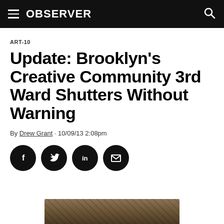OBSERVER
ART-10
Update: Brooklyn’s Creative Community 3rd Ward Shutters Without Warning
By Drew Grant · 10/09/13 2:08pm
[Figure (other): Social share buttons: Facebook, Twitter, LinkedIn, Email]
[Figure (photo): Partial view of a building facade with diagonal wooden/metal structural elements]